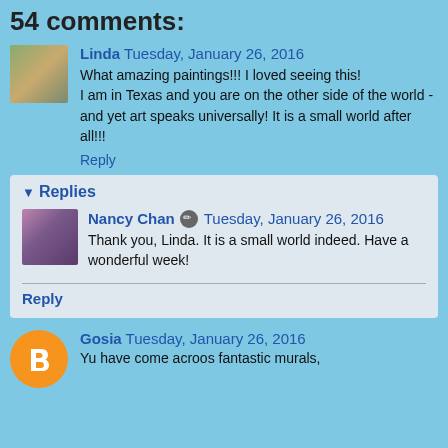54 comments:
Linda Tuesday, January 26, 2016
What amazing paintings!!! I loved seeing this!
I am in Texas and you are on the other side of the world - and yet art speaks universally! It is a small world after all!!!
Reply
Replies
Nancy Chan Tuesday, January 26, 2016
Thank you, Linda. It is a small world indeed. Have a wonderful week!
Reply
Gosia Tuesday, January 26, 2016
Yu have come acroos fantastic murals,